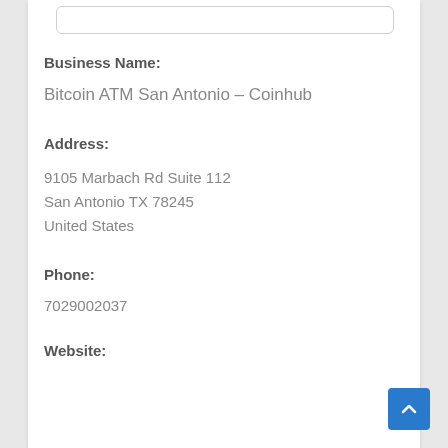Business Name:
Bitcoin ATM San Antonio – Coinhub
Address:
9105 Marbach Rd Suite 112
San Antonio TX 78245
United States
Phone:
7029002037
Website: